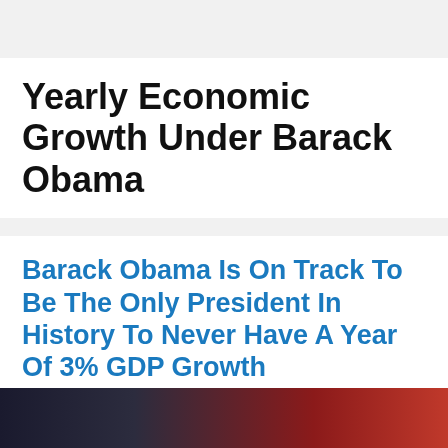Yearly Economic Growth Under Barack Obama
Barack Obama Is On Track To Be The Only President In History To Never Have A Year Of 3% GDP Growth
July 29, 2016 by Michael
[Figure (photo): Dark banner image at the bottom of the page showing flags, partially visible]